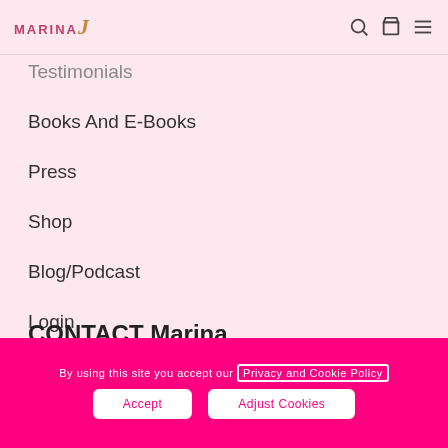MARINA J — logo and navigation icons
Testimonials
Books And E-Books
Press
Shop
Blog/Podcast
Login
CONTACT Marina
+44 (0) 7486 660 713
By using this site you accept our Privacy and Cookie Policy
Accept
Adjust Cookies